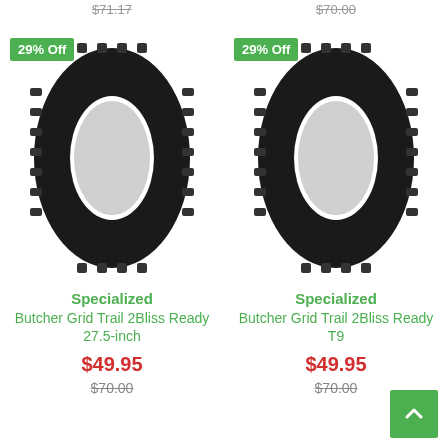$71.17   $70.00
[Figure (photo): Mountain bike tire - Specialized Butcher Grid Trail 2Bliss Ready 27.5-inch with 29% Off badge]
Specialized
Butcher Grid Trail 2Bliss Ready 27.5-inch
$49.95
$70.00
[Figure (photo): Mountain bike tire - Specialized Butcher Grid Trail 2Bliss Ready T9 with 29% Off badge]
Specialized
Butcher Grid Trail 2Bliss Ready T9
$49.95
$70.00